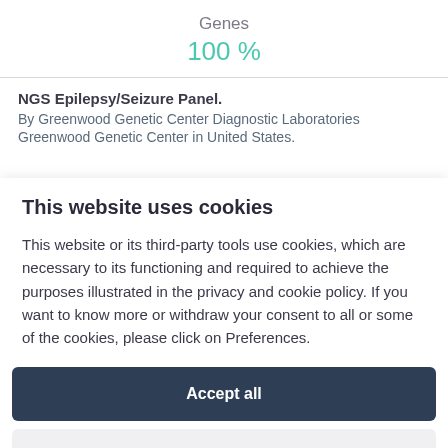Genes
100 %
NGS Epilepsy/Seizure Panel.
By Greenwood Genetic Center Diagnostic Laboratories
Greenwood Genetic Center in United States.
This website uses cookies
This website or its third-party tools use cookies, which are necessary to its functioning and required to achieve the purposes illustrated in the privacy and cookie policy. If you want to know more or withdraw your consent to all or some of the cookies, please click on Preferences.
Accept all
Preferences